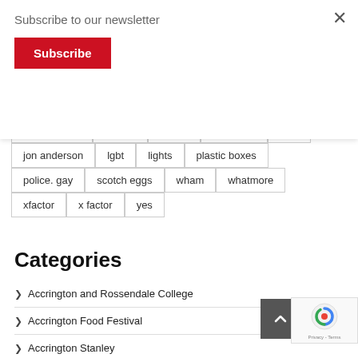Subscribe to our newsletter
Subscribe
globe centre | grease | grinch | hyndburn | jobs
jon anderson | lgbt | lights | plastic boxes
police. gay | scotch eggs | wham | whatmore
xfactor | x factor | yes
Categories
> Accrington and Rossendale College
> Accrington Food Festival
> Accrington Stanley